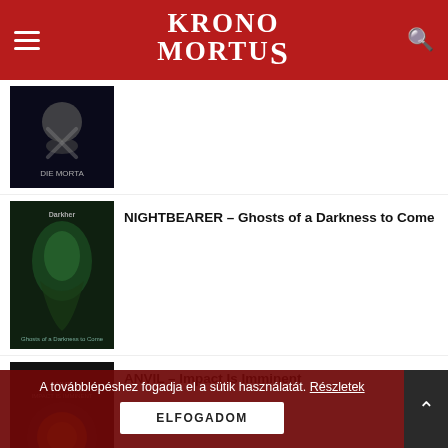Krono Mortus
[Figure (photo): Album cover thumbnail - dark skull/pirate themed image]
[Figure (photo): Album cover thumbnail - NIGHTBEARER Ghosts of a Darkness to Come, green/teal creature artwork]
NIGHTBEARER – Ghosts of a Darkness to Come
[Figure (photo): Album cover thumbnail - ANVIL Impact Is Imminent, orange/mechanical artwork]
ANVIL – Impact Is Imminent
[Figure (photo): Album cover thumbnail - KREATOR Hate Uber Alles, partial view]
KREATOR – Hate Über Alles
A továbblépéshez fogadja el a sütik használatát. Részletek
ELFOGADOM